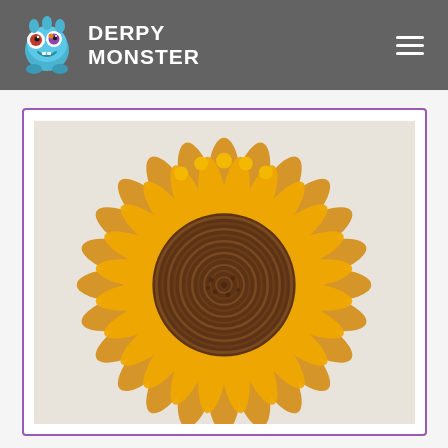DERPY MONSTER
[Figure (photo): Crochet sunflower pillow/decoration with yellow petals and a brown spiral center, photographed against a light background, displayed inside a purple-bordered card.]